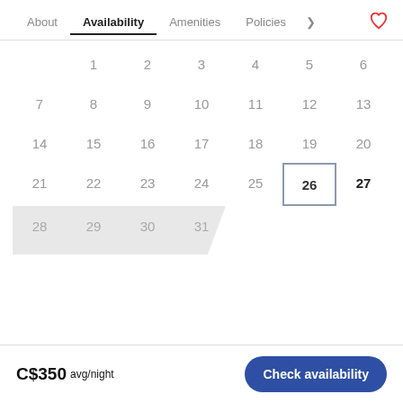About  Availability  Amenities  Policies
[Figure (other): Monthly availability calendar showing dates 1-31. Dates 28-31 are shaded in grey indicating unavailability. Date 26 is highlighted with a border box. Date 27 is bold.]
C$350 avg/night
Check availability